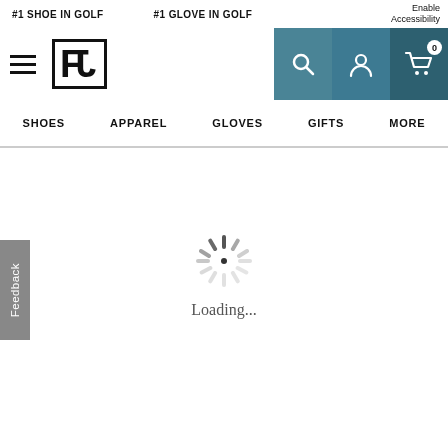#1 SHOE IN GOLF   #1 GLOVE IN GOLF   Enable Accessibility
[Figure (logo): FootJoy FJ logo — bold black FJ letters with border]
[Figure (infographic): Navigation icons: search (magnifying glass), user/account (person icon), cart (shopping cart with badge 0) on dark teal background]
SHOES   APPAREL   GLOVES   GIFTS   MORE
[Figure (infographic): Loading spinner (asterisk/spoked wheel) and text 'Loading...']
Feedback